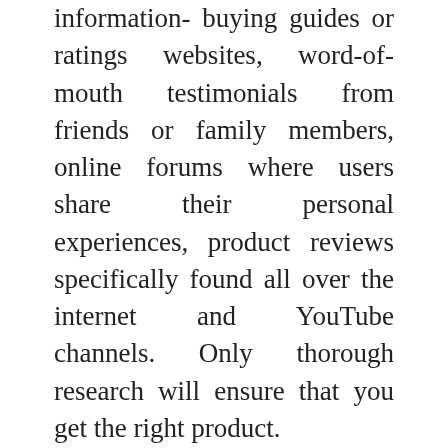information- buying guides or ratings websites, word-of-mouth testimonials from friends or family members, online forums where users share their personal experiences, product reviews specifically found all over the internet and YouTube channels. Only thorough research will ensure that you get the right product. But that's not always easy, right? That's why we've taken time to compile a list of the best Spark Plugs For F250 in today's market, on your behalf, so that there will be no more worries